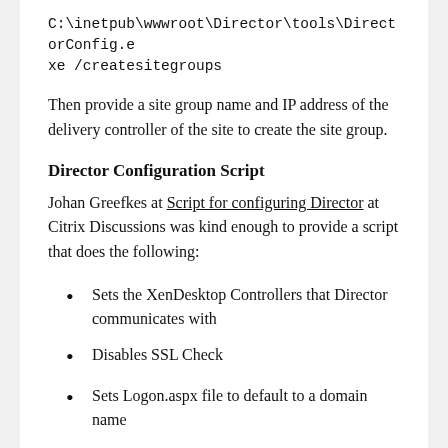C:\inetpub\wwwroot\Director\tools\DirectorConfig.exe /createsitegroups
Then provide a site group name and IP address of the delivery controller of the site to create the site group.
Director Configuration Script
Johan Greefkes at Script for configuring Director at Citrix Discussions was kind enough to provide a script that does the following:
Sets the XenDesktop Controllers that Director communicates with
Disables SSL Check
Sets Logon.aspx file to default to a domain name